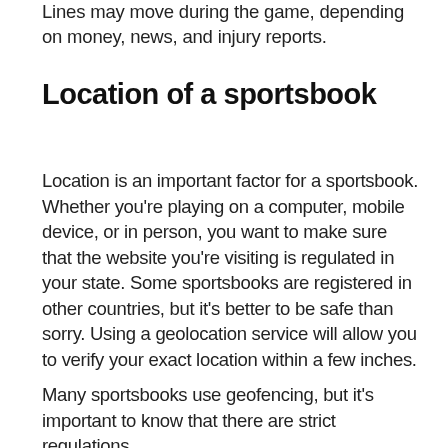Lines may move during the game, depending on money, news, and injury reports.
Location of a sportsbook
Location is an important factor for a sportsbook. Whether you're playing on a computer, mobile device, or in person, you want to make sure that the website you're visiting is regulated in your state. Some sportsbooks are registered in other countries, but it's better to be safe than sorry. Using a geolocation service will allow you to verify your exact location within a few inches.
Many sportsbooks use geofencing, but it's important to know that there are strict regulations